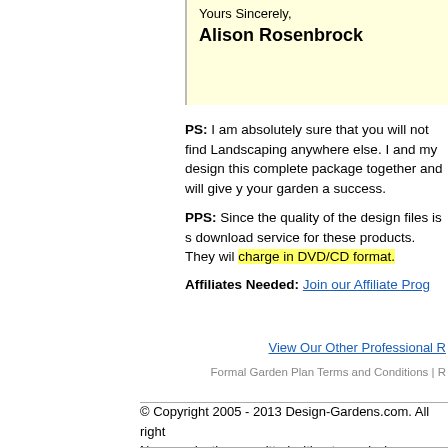Yours Sincerely,
Alison Rosenbrock
PS: I am absolutely sure that you will not find Landscaping anywhere else. I and my design this complete package together and will give y your garden a success.
PPS: Since the quality of the design files is s download service for these products. They wil charge in DVD/CD format.
Affiliates Needed: Join our Affiliate Prog
View Our Other Professional R
Formal Garden Plan Terms and Conditions | R
© Copyright 2005 - 2013 Design-Gardens.com. All right No reproduction permitted without permission.